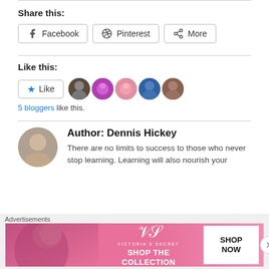Share this:
Facebook  Pinterest  More
Like this:
Like  5 bloggers like this.
Author: Dennis Hickey
There are no limits to success to those who never stop learning. Learning will also nourish your
Advertisements
[Figure (photo): Victoria's Secret advertisement banner with model, VS logo, 'Shop the Collection' text and 'Shop Now' button]